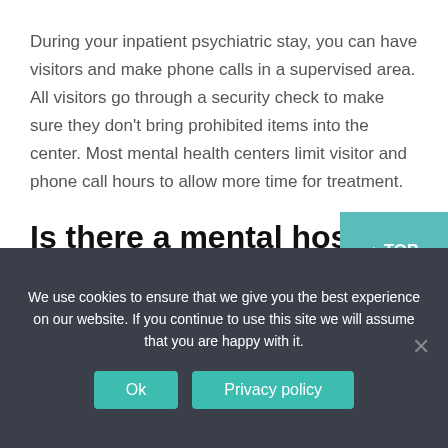During your inpatient psychiatric stay, you can have visitors and make phone calls in a supervised area. All visitors go through a security check to make sure they don't bring prohibited items into the center. Most mental health centers limit visitor and phone call hours to allow more time for treatment.
Is there a mental hospital in Tampa Florida?
We use cookies to ensure that we give you the best experience on our website. If you continue to use this site we will assume that you are happy with it.